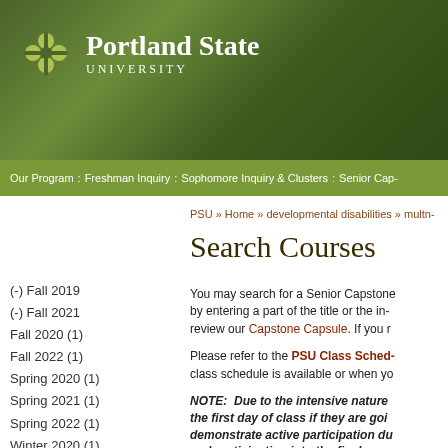[Figure (logo): Portland State University logo with green background header]
Our Program : Freshman Inquiry : Sophomore Inquiry & Clusters : Senior Cap-
PSU » Home » developmental disabilities » multn-
Search Courses
(-) Fall 2019
(-) Fall 2021
Fall 2020 (1)
Fall 2022 (1)
Spring 2020 (1)
Spring 2021 (1)
Spring 2022 (1)
Winter 2020 (1)
Winter 2021 (1)
Winter 2022 (1)
You may search for a Senior Capstone by entering a part of the title or the in- review our Capstone Capsule. If you r
Please refer to the PSU Class Sched- class schedule is available or when yo
NOTE:  Due to the intensive nature the first day of class if they are goi demonstrate active participation du and participation into the final grac
NOTE:  "Sustainability" tagged cou seek approval from Joseph Maser,